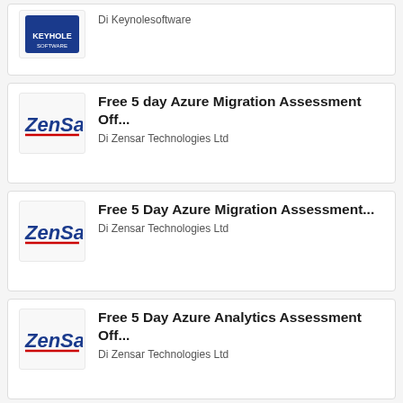Di Keynolesoftware
Free 5 day Azure Migration Assessment Off...
Di Zensar Technologies Ltd
Free 5 Day Azure Migration Assessment...
Di Zensar Technologies Ltd
Free 5 Day Azure Analytics Assessment Off...
Di Zensar Technologies Ltd
Move to Azure with Talend : 1-Wk...
Di CGI FRANCE